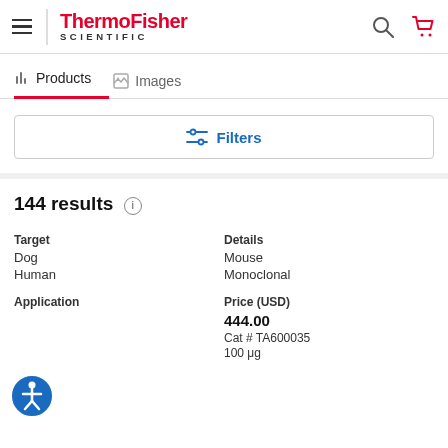[Figure (screenshot): ThermoFisher Scientific website header with hamburger menu, logo, search icon, and cart icon]
ThermoFisher SCIENTIFIC
Products   Images
Filters
144 results
| Target | Details |
| --- | --- |
| Dog | Mouse |
| Human | Monoclonal |
| Application | Price (USD) |
| --- | --- |
|  | 444.00
Cat # TA600035
100 μg |